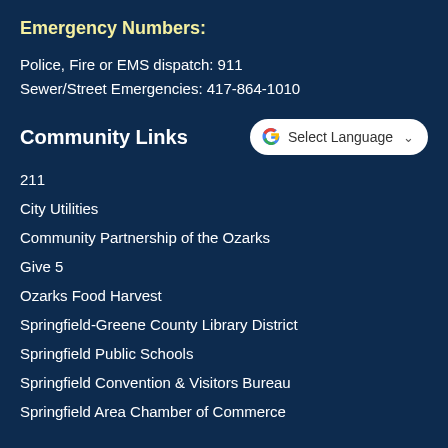Emergency Numbers:
Police, Fire or EMS dispatch: 911
Sewer/Street Emergencies: 417-864-1010
Community Links
[Figure (other): Google Translate 'Select Language' dropdown button]
211
City Utilities
Community Partnership of the Ozarks
Give 5
Ozarks Food Harvest
Springfield-Greene County Library District
Springfield Public Schools
Springfield Convention & Visitors Bureau
Springfield Area Chamber of Commerce